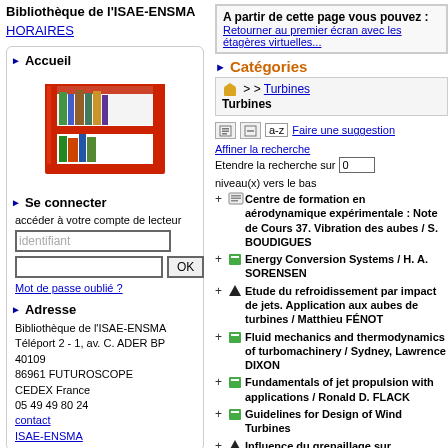Bibliothèque de l'ISAE-ENSMA
HORAIRES
Accueil
[Figure (illustration): Red bookshelf with books]
Se connecter
accéder à votre compte de lecteur
identifiant [input field] [password field] OK Mot de passe oublié ?
Adresse
Bibliothèque de l'ISAE-ENSMA
Téléport 2 - 1, av. C. ADER BP 40109
86961 FUTUROSCOPE
CEDEX France
05 49 49 80 24
contact
ISAE-ENSMA
A partir de cette page vous pouvez : Retourner au premier écran avec les étagères virtuelles...
Catégories
> > Turbines
Turbines
Faire une suggestion  Affiner la recherche
Etendre la recherche sur 0 niveau(x) vers le bas
Centre de formation en aérodynamique expérimentale : Note de Cours 37. Vibration des aubes / S. BOUDIGUES
Energy Conversion Systems / H. A. SORENSEN
Etude du refroidissement par impact de jets. Application aux aubes de turbines / Matthieu FÉNOT
Fluid mechanics and thermodynamics of turbomachinery / Sydney, Lawrence DIXON
Fundamentals of jet propulsion with applications / Ronald D. FLACK
Guidelines for Design of Wind Turbines
Influence du grenaillage sur propagation des fissures / Olivier JUNG
Training Center for Experimental Aerodynamics : Course Note 15. Cascade Testing Boundary Achiev. T...